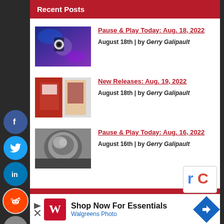Recent Posts
Pause & Play Today: Aug. 18, 2022
August 18th | by Gerry Galipault
New Releases: Aug. 19, 2022
August 18th | by Gerry Galipault
Pause & Play Today: Aug. 16, 2022
August 16th | by Gerry Galipault
Connect on Facebook
[Figure (infographic): Walgreens Photo advertisement: Shop Now For Essentials]